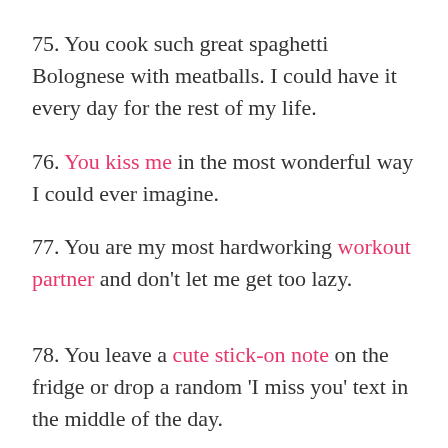75. You cook such great spaghetti Bolognese with meatballs. I could have it every day for the rest of my life.
76. You kiss me in the most wonderful way I could ever imagine.
77. You are my most hardworking workout partner and don't let me get too lazy.
78. You leave a cute stick-on note on the fridge or drop a random 'I miss you' text in the middle of the day.